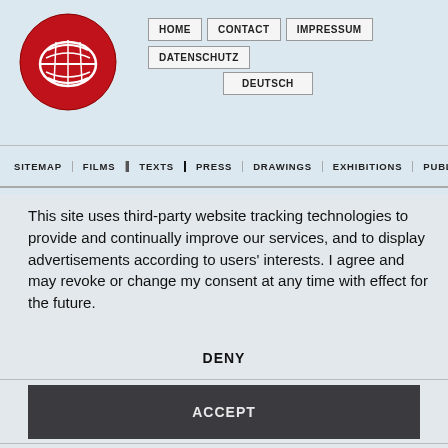[Figure (logo): Round red logo with white basket/face design and text]
HOME   CONTACT   IMPRESSUM   DATENSCHUTZ   DEUTSCH
SITEMAP | FILMS | TEXTS | PRESS | DRAWINGS | EXHIBITIONS | PUBLICATIONS
This site uses third-party website tracking technologies to provide and continually improve our services, and to display advertisements according to users' interests. I agree and may revoke or change my consent at any time with effect for the future.
DENY
ACCEPT
MORE
Powered by  usercentrics  &